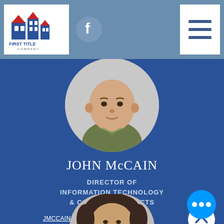[Figure (logo): First Title Company logo - blue house/building icon with red roof accents and text FIRST TITLE COMPANY]
[Figure (logo): Facebook circular logo icon in slate blue]
[Figure (other): Hamburger menu icon (three horizontal lines) on white square background]
[Figure (photo): Circular profile photo of bald middle-aged man in olive/green shirt, looking at camera, on light grey background]
JOHN McCAIN
DIRECTOR OF INFORMATION TECHNOLOGY & COMPANY PROJECTS
JMCCAIN@FIRSTTITLECB.COM
[Figure (photo): Partial circular profile photo of a woman with dark hair, visible from forehead to chin, at the bottom of the page]